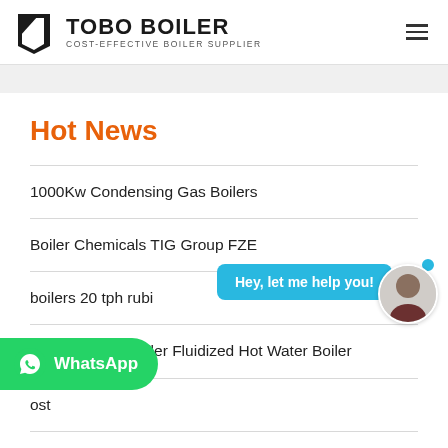TOBO BOILER — COST-EFFECTIVE BOILER SUPPLIER
Hot News
1000Kw Condensing Gas Boilers
Boiler Chemicals TIG Group FZE
boilers 20 tph rubi...
Fluidized Bed Boiler Fluidized Hot Water Boiler
...ost
SS sink boiler Home Distiller